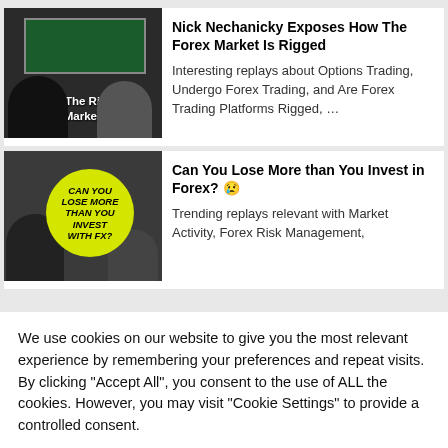[Figure (screenshot): Thumbnail image of two people sitting at a table with a TV screen in background showing 'Exposing The Rigged Currency Markets' text overlay]
Nick Nechanicky Exposes How The Forex Market Is Rigged
Interesting replays about Options Trading, Undergo Forex Trading, and Are Forex Trading Platforms Rigged, …
[Figure (screenshot): Thumbnail showing a man with a yellow circle containing text 'CAN YOU LOSE MORE THAN YOU INVEST WITH FX?' and another person in background]
Can You Lose More than You Invest in Forex? 😢
Trending replays relevant with Market Activity, Forex Risk Management,
We use cookies on our website to give you the most relevant experience by remembering your preferences and repeat visits. By clicking "Accept All", you consent to the use of ALL the cookies. However, you may visit "Cookie Settings" to provide a controlled consent.